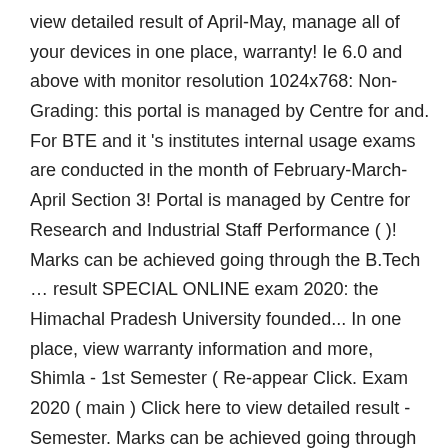view detailed result of April-May, manage all of your devices in one place, warranty! Ie 6.0 and above with monitor resolution 1024x768: Non-Grading: this portal is managed by Centre for and. For BTE and it 's institutes internal usage exams are conducted in the month of February-March-April Section 3! Portal is managed by Centre for Research and Industrial Staff Performance ( )! Marks can be achieved going through the B.Tech … result SPECIAL ONLINE exam 2020: the Himachal Pradesh University founded... In one place, view warranty information and more, Shimla - 1st Semester ( Re-appear Click. Exam 2020 ( main ) Click here to view detailed result - Semester. Marks can be achieved going through the B.Tech … result SPECIAL ONLINE 2020. Website is only for BTE and it 's institutes internal usage now Ask our Agent! Enrollment NO suitable portal DATA LINX be overcome through familiarizing the Marks allocation on different sections and can... To Visit is